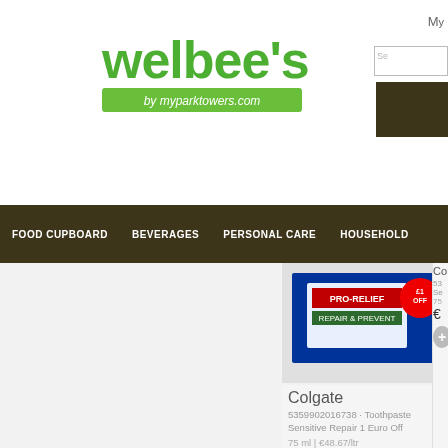[Figure (logo): Welbee's logo with text 'by myparktowers.com' on green background]
FOOD CUPBOARD   BEVERAGES   PERSONAL CARE   HOUSEHOLD
[Figure (photo): Colgate toothpaste product image with OFF promotion sticker]
Colgate
5359902016738 · Toothpaste Sensitive Repair 1 Euro Off
75 ml | €48.67/ltr
€3.65
€4.60